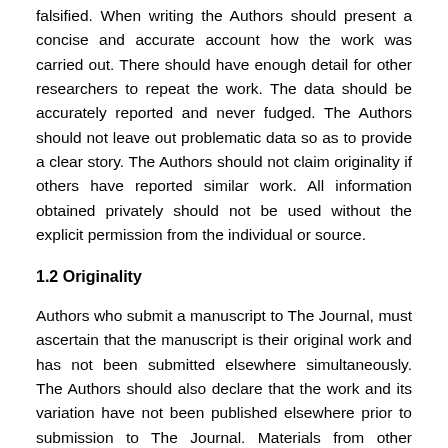falsified. When writing the Authors should present a concise and accurate account how the work was carried out. There should have enough detail for other researchers to repeat the work. The data should be accurately reported and never fudged. The Authors should not leave out problematic data so as to provide a clear story. The Authors should not claim originality if others have reported similar work. All information obtained privately should not be used without the explicit permission from the individual or source.
1.2 Originality
Authors who submit a manuscript to The Journal, must ascertain that the manuscript is their original work and has not been submitted elsewhere simultaneously. The Authors should also declare that the work and its variation have not been published elsewhere prior to submission to The Journal. Materials from other sources or publications must be